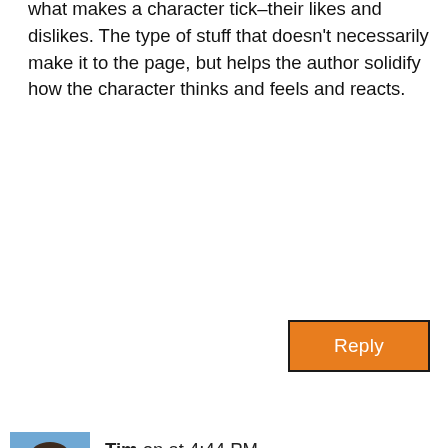what makes a character tick–their likes and dislikes. The type of stuff that doesn't necessarily make it to the page, but helps the author solidify how the character thinks and feels and reacts.
Reply
Tim on at 4:44 PM
I could see how this would be a great research tool. I often find that when I begin a story I need to research the background more in order to set the stage. This method is an infinite way of continuing to research. Good idea o set an end point or you will end up in a room all by yourself forever…